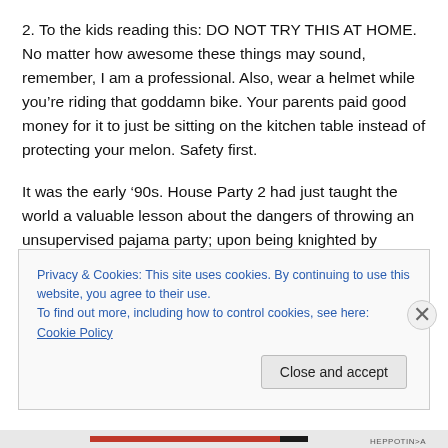2. To the kids reading this: DO NOT TRY THIS AT HOME. No matter how awesome these things may sound, remember, I am a professional. Also, wear a helmet while you're riding that goddamn bike. Your parents paid good money for it to just be sitting on the kitchen table instead of protecting your melon. Safety first.
It was the early ’90s. House Party 2 had just taught the world a valuable lesson about the dangers of throwing an unsupervised pajama party; upon being knighted by
Privacy & Cookies: This site uses cookies. By continuing to use this website, you agree to their use.
To find out more, including how to control cookies, see here: Cookie Policy
Close and accept